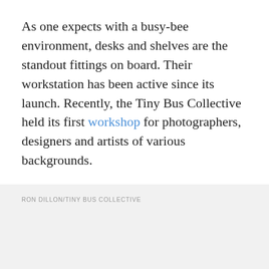As one expects with a busy-bee environment, desks and shelves are the standout fittings on board. Their workstation has been active since its launch. Recently, the Tiny Bus Collective held its first workshop for photographers, designers and artists of various backgrounds.
RON DILLON/TINY BUS COLLECTIVE
ADVERTISEMENT
Productivity is everywhere — just check out those clipboards! If you need to take your eyes off the screens